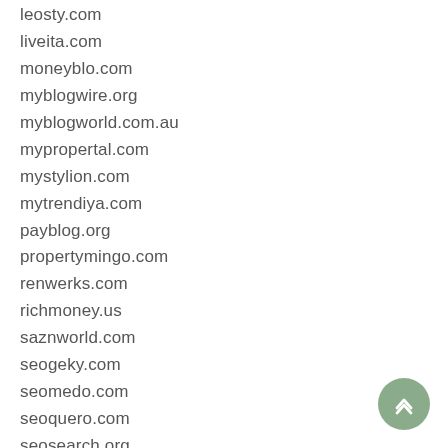leosty.com
liveita.com
moneyblo.com
myblogwire.org
myblogworld.com.au
mypropertal.com
mystylion.com
mytrendiya.com
payblog.org
propertymingo.com
renwerks.com
richmoney.us
saznworld.com
seogeky.com
seomedo.com
seoquero.com
seosearch.org